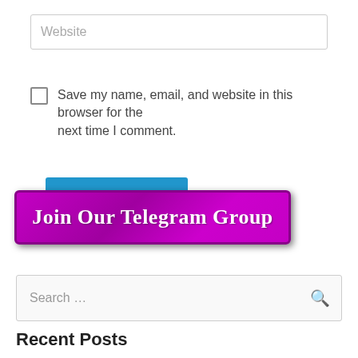[Figure (screenshot): Website text input field with placeholder text 'Website']
Save my name, email, and website in this browser for the next time I comment.
[Figure (screenshot): Blue button partially visible, overlapped by a purple 'Join Our Telegram Group' banner button]
[Figure (screenshot): Search input field with placeholder 'Search ...' and a search icon on the right]
Recent Posts